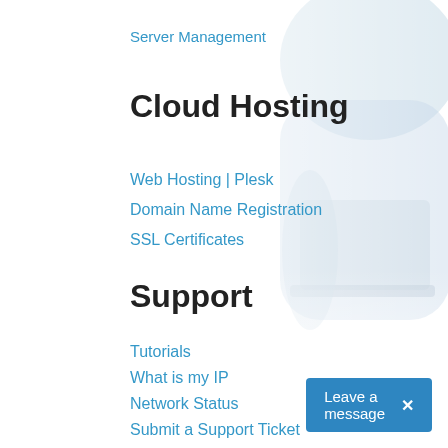[Figure (illustration): Background image of a woman in a light blue shirt holding a laptop, faded into white on the right side of the page]
Server Management
Cloud Hosting
Web Hosting | Plesk
Domain Name Registration
SSL Certificates
Support
Tutorials
What is my IP
Network Status
Submit a Support Ticket
Leave a message  ×